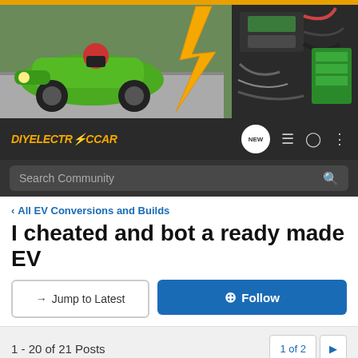[Figure (photo): DIY Electric Car forum banner showing a green electric race car on left and EV components on right with a yellow lightning bolt in the center]
DIYELECTRICCAR
Search Community
< All EV Conversions and Builds
I cheated and bot a ready made EV
→ Jump to Latest
+ Follow
1 - 20 of 21 Posts
1 of 2 ▶
spdas · Registered